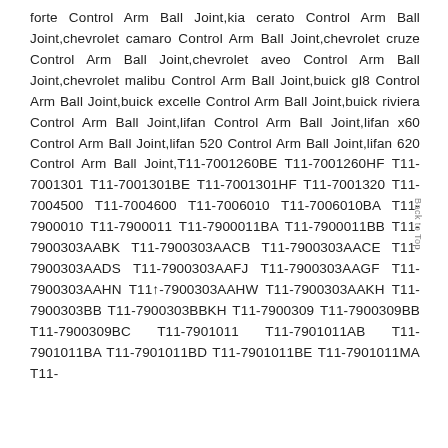forte Control Arm Ball Joint,kia cerato Control Arm Ball Joint,chevrolet camaro Control Arm Ball Joint,chevrolet cruze Control Arm Ball Joint,chevrolet aveo Control Arm Ball Joint,chevrolet malibu Control Arm Ball Joint,buick gl8 Control Arm Ball Joint,buick excelle Control Arm Ball Joint,buick riviera Control Arm Ball Joint,lifan Control Arm Ball Joint,lifan x60 Control Arm Ball Joint,lifan 520 Control Arm Ball Joint,lifan 620 Control Arm Ball Joint,T11-7001260BE T11-7001260HF T11-7001301 T11-7001301BE T11-7001301HF T11-7001320 T11-7004500 T11-7004600 T11-7006010 T11-7006010BA T11-7900010 T11-7900011 T11-7900011BA T11-7900011BB T11-7900303AABK T11-7900303AACB T11-7900303AACE T11-7900303AADS T11-7900303AAFJ T11-7900303AAGF T11-7900303AAHN T11-7900303AAHW T11-7900303AAKH T11-7900303BB T11-7900303BBKH T11-7900309 T11-7900309BB T11-7900309BC T11-7901011 T11-7901011AB T11-7901011BA T11-7901011BD T11-7901011BE T11-7901011MA T11-